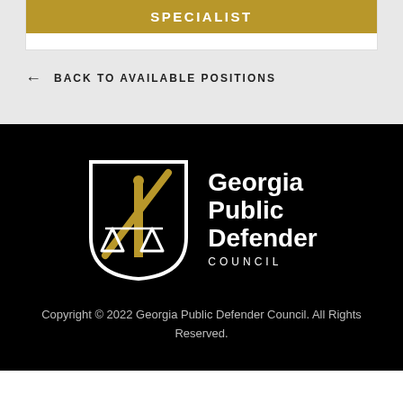SPECIALIST
← BACK TO AVAILABLE POSITIONS
[Figure (logo): Georgia Public Defender Council logo — a shield containing scales of justice and a pillar, in white and gold, with 'Georgia Public Defender COUNCIL' text in white to the right]
Copyright © 2022 Georgia Public Defender Council. All Rights Reserved.